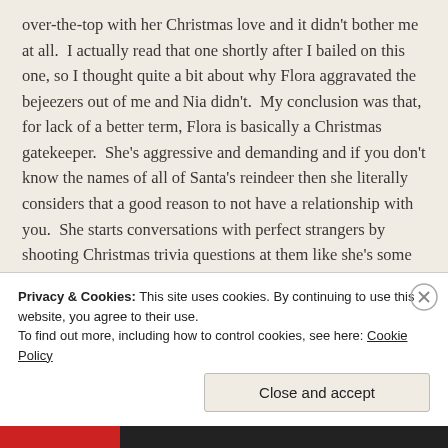over-the-top with her Christmas love and it didn't bother me at all.  I actually read that one shortly after I bailed on this one, so I thought quite a bit about why Flora aggravated the bejeezers out of me and Nia didn't.  My conclusion was that, for lack of a better term, Flora is basically a Christmas gatekeeper.  She's aggressive and demanding and if you don't know the names of all of Santa's reindeer then she literally considers that a good reason to not have a relationship with you.  She starts conversations with perfect strangers by shooting Christmas trivia questions at them like she's some kind gestapo.  She has to sell some of her Christmas décor to fund her new camper van lifestyle, but acts like she is
Privacy & Cookies: This site uses cookies. By continuing to use this website, you agree to their use.
To find out more, including how to control cookies, see here: Cookie Policy
Close and accept